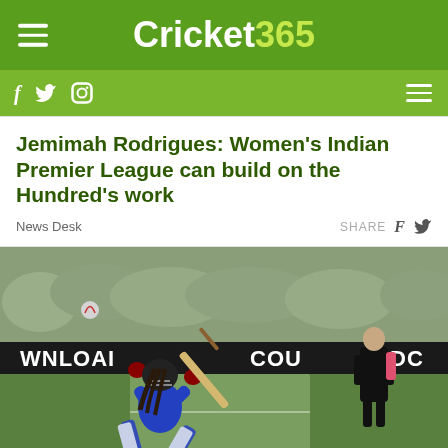Cricket 365
Jemimah Rodrigues: Women's Indian Premier League can build on the Hundred's work
News Desk   SHARE
[Figure (photo): A female cricket player in blue kit playing a sweep shot on her knees during a match. Advertising boards reading 'DOWNLOAD' and 'COUNTDOWN' are visible in the background. An umpire in black stands in the background right.]